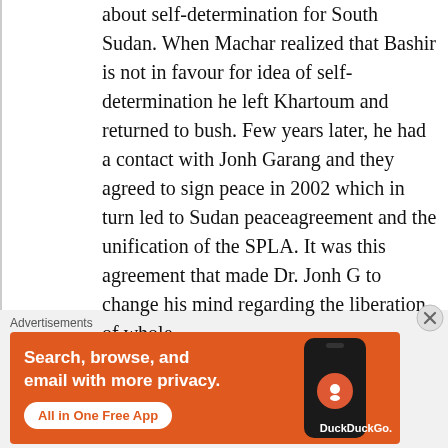about self-determination for South Sudan. When Machar realized that Bashir is not in favour for idea of self-determination he left Khartoum and returned to bush. Few years later, he had a contact with Jonh Garang and they agreed to sign peace in 2002 which in turn led to Sudan peaceagreement and the unification of the SPLA. It was this agreement that made Dr. Jonh G to change his mind regarding the liberation of whole
Advertisements
[Figure (infographic): DuckDuckGo advertisement banner with orange background. Text reads 'Search, browse, and email with more privacy.' with button 'All in One Free App'. Right side shows a smartphone with DuckDuckGo logo and 'DuckDuckGo.' label.]